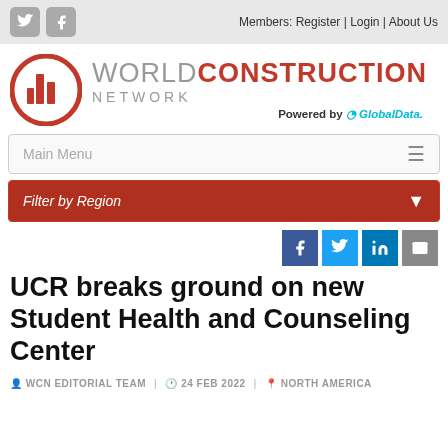Members: Register | Login | About Us
[Figure (logo): World Construction Network logo with red circular building icon and WORLD CONSTRUCTION NETWORK text, Powered by GlobalData]
Main Menu
Filter by Region
UCR breaks ground on new Student Health and Counseling Center
WCN EDITORIAL TEAM   24 FEB 2022   NORTH AMERICA